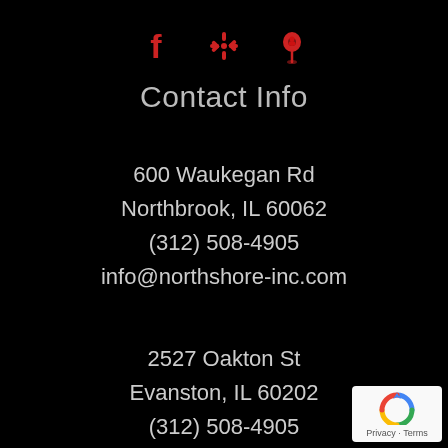[Figure (illustration): Three red social/map icons: Facebook (f), Yelp (asterisk/burst), and Google Maps (pin with person) arranged horizontally]
Contact Info
600 Waukegan Rd
Northbrook, IL 60062
(312) 508-4905
info@northshore-inc.com
2527 Oakton St
Evanston, IL 60202
(312) 508-4905
info@northshore-inc.com
[Figure (logo): Google reCAPTCHA badge with blue/gray recycling arrow icon and Privacy - Terms text]